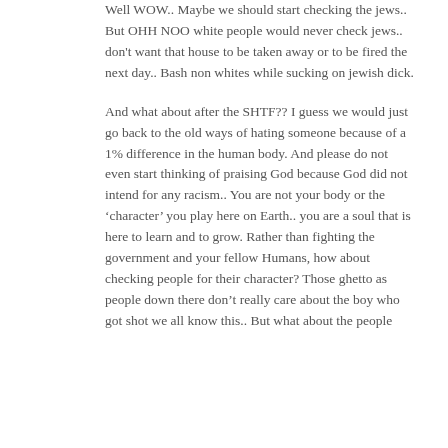Well WOW.. Maybe we should start checking the jews.. But OHH NOO white people would never check jews.. don't want that house to be taken away or to be fired the next day.. Bash non whites while sucking on jewish dick.
And what about after the SHTF?? I guess we would just go back to the old ways of hating someone because of a 1% difference in the human body. And please do not even start thinking of praising God because God did not intend for any racism.. You are not your body or the 'character' you play here on Earth.. you are a soul that is here to learn and to grow. Rather than fighting the government and your fellow Humans, how about checking people for their character? Those ghetto as people down there don't really care about the boy who got shot we all know this.. But what about the people